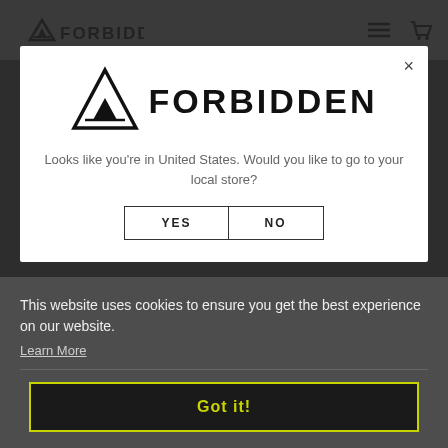FORBIDDEN
[Figure (logo): Forbidden Bike Co logo with triangle mountain icon and FORBIDDEN text in the modal dialog]
Looks like you're in United States. Would you like to go to your local store?
YES   NO
This website uses cookies to ensure you get the best experience on our website.
Learn More
Got it!